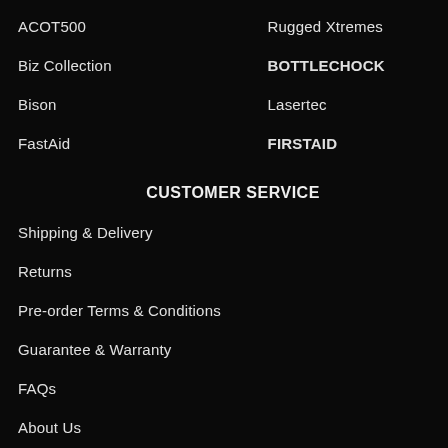ACOT500
Rugged Xtremes
Biz Collection
BOTTLECHOCK
Bison
Lasertec
FastAid
FIRSTAID
CUSTOMER SERVICE
Shipping & Delivery
Returns
Pre-order Terms & Conditions
Guarantee & Warranty
FAQs
About Us
Sell With Us
Store Finder